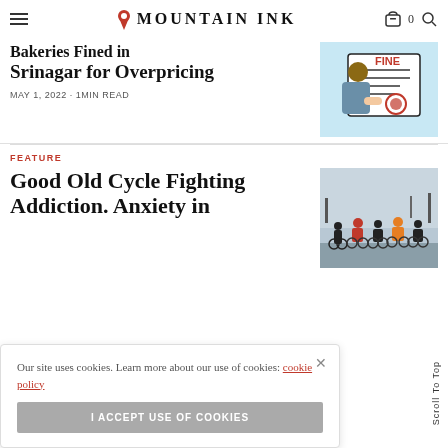MOUNTAIN INK
Bakeries Fined in Srinagar for Overpricing
MAY 1, 2022 · 1 MIN READ
[Figure (illustration): Illustration of a person receiving a fine document with 'FINE' written in red]
FEATURE
Good Old Cycle Fighting Addiction. Anxiety in
[Figure (photo): Group of cyclists with bicycles in winter/misty outdoor setting]
Our site uses cookies. Learn more about our use of cookies: cookie policy
I ACCEPT USE OF COOKIES